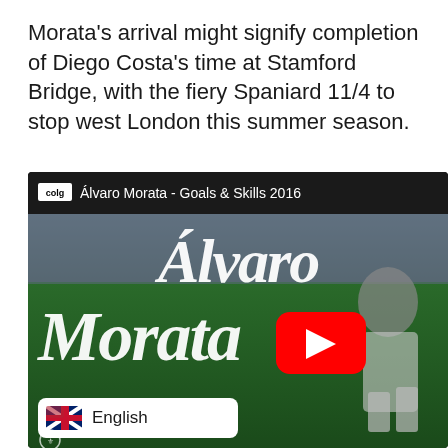Morata's arrival might signify completion of Diego Costa's time at Stamford Bridge, with the fiery Spaniard 11/4 to stop west London this summer season.
[Figure (screenshot): YouTube video thumbnail for 'Álvaro Morata - Goals & Skills 2016' showing a football player in a Juventus white jersey on a pitch, with cursive white text overlay reading 'Alvaro Morata', a YouTube play button in the center, and a language selector badge showing the English flag and 'English' text at the bottom left.]